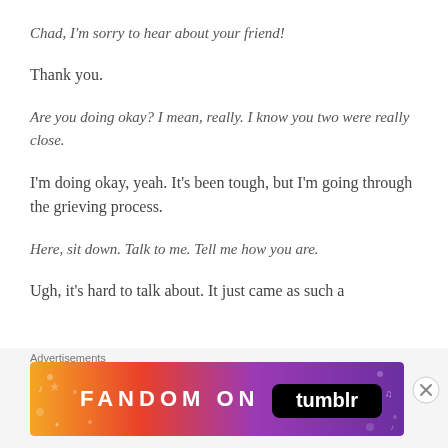Chad, I'm sorry to hear about your friend!
Thank you.
Are you doing okay? I mean, really. I know you two were really close.
I'm doing okay, yeah. It's been tough, but I'm going through the grieving process.
Here, sit down. Talk to me. Tell me how you are.
Ugh, it's hard to talk about. It just came as such a
Advertisements
[Figure (other): Fandom on Tumblr advertisement banner with orange-to-purple gradient background and decorative icons]